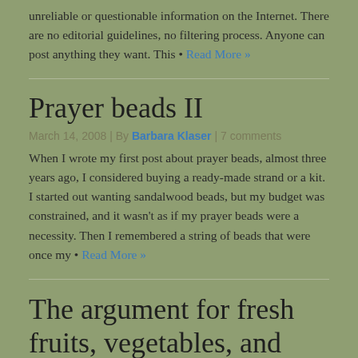unreliable or questionable information on the Internet. There are no editorial guidelines, no filtering process. Anyone can post anything they want. This • Read More »
Prayer beads II
March 14, 2008 | By Barbara Klaser | 7 comments
When I wrote my first post about prayer beads, almost three years ago, I considered buying a ready-made strand or a kit. I started out wanting sandalwood beads, but my budget was constrained, and it wasn't as if my prayer beads were a necessity. Then I remembered a string of beads that were once my • Read More »
The argument for fresh fruits, vegetables, and whole grains